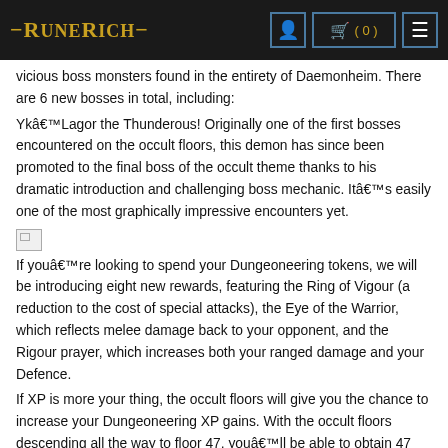RuneRich | Cart (0) | Menu
vicious boss monsters found in the entirety of Daemonheim. There are 6 new bosses in total, including:
Ykâ€™Lagor the Thunderous! Originally one of the first bosses encountered on the occult floors, this demon has since been promoted to the final boss of the occult theme thanks to his dramatic introduction and challenging boss mechanic. Itâ€™s easily one of the most graphically impressive encounters yet.
[Figure (photo): Broken image placeholder]
If youâ€™re looking to spend your Dungeoneering tokens, we will be introducing eight new rewards, featuring the Ring of Vigour (a reduction to the cost of special attacks), the Eye of the Warrior, which reflects melee damage back to your opponent, and the Rigour prayer, which increases both your ranged damage and your Defence.
If XP is more your thing, the occult floors will give you the chance to increase your Dungeoneering XP gains. With the occult floors descending all the way to floor 47, youâ€™ll be able to obtain 47 prestige instead of the 35 you are used to, meaning greater XP per hour.